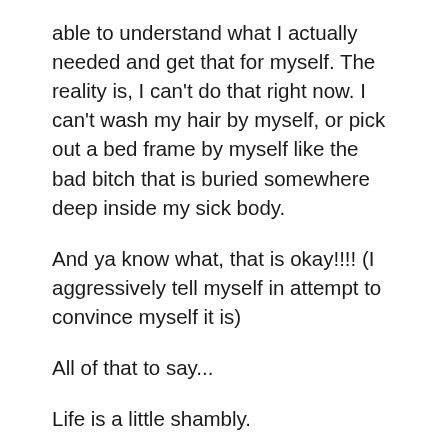able to understand what I actually needed and get that for myself. The reality is, I can't do that right now. I can't wash my hair by myself, or pick out a bed frame by myself like the bad bitch that is buried somewhere deep inside my sick body.
And ya know what, that is okay!!!! (I aggressively tell myself in attempt to convince myself it is)
All of that to say...
Life is a little shambly.
So I truly hope you'll join me as I begin to document the (often humorous) realities of my 'doctor strongly suggested' gap year.
Sure, I'm taking a break between undergrad and